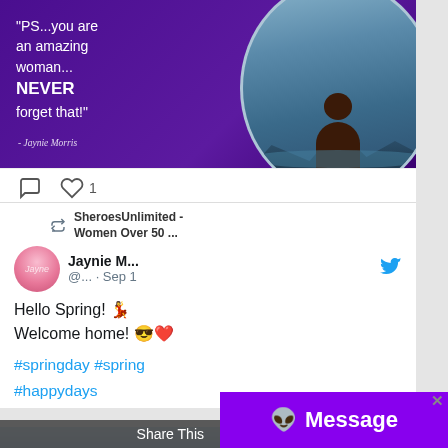[Figure (screenshot): Social media post image with purple background showing a motivational quote: 'PS...you are an amazing woman... NEVER forget that!' attributed to Jaynie Morris, with a circular photo of a woman looking at the sea.]
♡ 1
[Figure (screenshot): Retweet from SheroesUnlimited - Women Over 50 ... by Jaynie M... @... · Sep 1 with tweet: Hello Spring! 💃 Welcome home! 😎❤️ #springday #spring #happydays]
Share This
Message